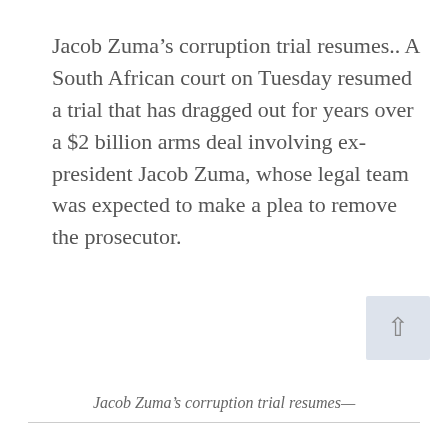Jacob Zuma’s corruption trial resumes.. A South African court on Tuesday resumed a trial that has dragged out for years over a $2 billion arms deal involving ex-president Jacob Zuma, whose legal team was expected to make a plea to remove the prosecutor.
Jacob Zuma’s corruption trial resumes—